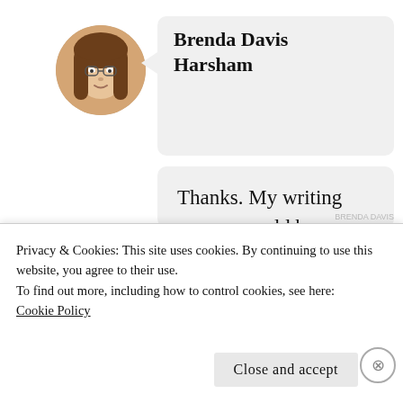[Figure (illustration): Circular avatar photo of a woman with long brown hair, shown in a round frame]
Brenda Davis Harsham
Thanks. My writing process could be described as floundering in molasses while blind-folded at the
Privacy & Cookies: This site uses cookies. By continuing to use this website, you agree to their use.
To find out more, including how to control cookies, see here:
Cookie Policy
Close and accept